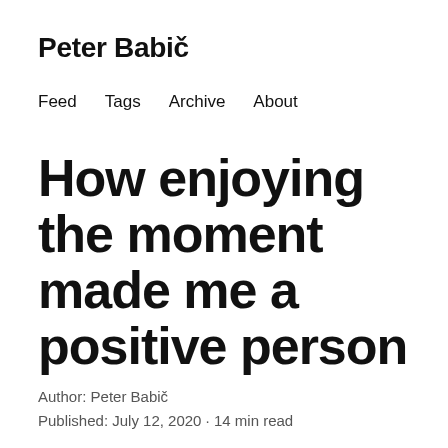Peter Babič
Feed  Tags  Archive  About
How enjoying the moment made me a positive person
Author: Peter Babič
Published: July 12, 2020 · 14 min read
Have you ever got into a situation where you did